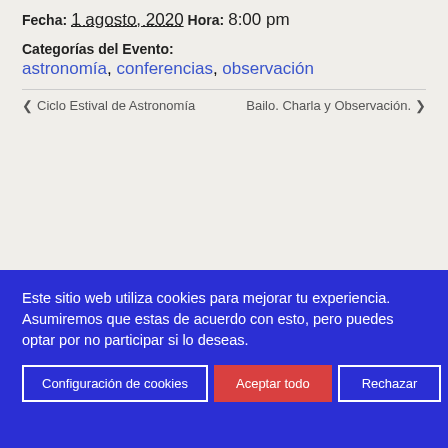Fecha:
1 agosto, 2020
Hora:
8:00 pm
Categorías del Evento:
astronomía, conferencias, observación
‹ Ciclo Estival de Astronomía   Bailo. Charla y Observación. ›
Este sitio web utiliza cookies para mejorar tu experiencia. Asumiremos que estas de acuerdo con esto, pero puedes optar por no participar si lo deseas.
Configuración de cookies  Aceptar todo  Rechazar